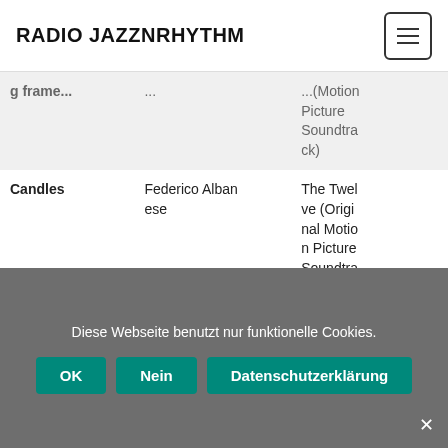RADIO JAZZNRHYTHM
| Song | Artist | Album |
| --- | --- | --- |
| g frame... | ... | ... (Motion Picture Soundtrack) |
| Candles | Federico Albanese | The Twelve (Original Motion Picture Soundtrack) |
| The Harp Theme | Federico Albanese | The Twelve (Original Motion Picture Soundtrack) |
Diese Webseite benutzt nur funktionelle Cookies.